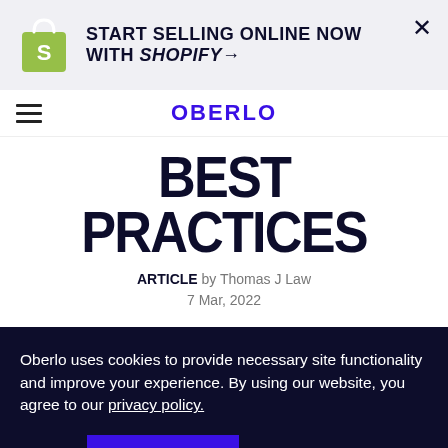[Figure (logo): Shopify bag logo and advertisement banner: START SELLING ONLINE NOW WITH SHOPIFY→]
OBERLO
BEST PRACTICES
ARTICLE by Thomas J Law
7 Mar, 2022
Oberlo uses cookies to provide necessary site functionality and improve your experience. By using our website, you agree to our privacy policy.
Reject   ACCEPT